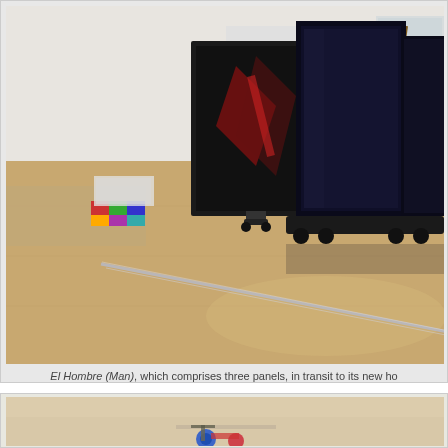[Figure (photo): Large indoor gallery or museum space with wood parquet flooring. Three large dark painting panels on wheeled transport carts/easels are visible in the center-right. A long metal rail or rod lies diagonally on the floor. Background shows white walls, windows, and colorful objects on the left side.]
El Hombre (Man), which comprises three panels, in transit to its new ho
[Figure (photo): Partial view of another indoor space with beige/cream walls. Bottom of frame shows colorful objects including what appears to be a blue and red tricycle or similar item.]